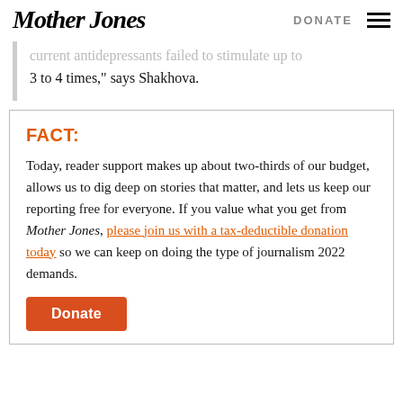Mother Jones | DONATE
...current antidepressants failed to stimulate up to 3 to 4 times," says Shakhova.
FACT:
Today, reader support makes up about two-thirds of our budget, allows us to dig deep on stories that matter, and lets us keep our reporting free for everyone. If you value what you get from Mother Jones, please join us with a tax-deductible donation today so we can keep on doing the type of journalism 2022 demands.
Donate